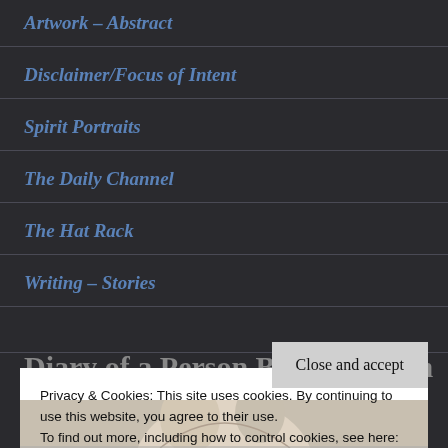Artwork – Abstract
Disclaimer/Focus of Intent
Spirit Portraits
The Daily Channel
The Hat Rack
Writing – Stories
Diary of a Person Being Human
Privacy & Cookies: This site uses cookies. By continuing to use this website, you agree to their use.
To find out more, including how to control cookies, see here:
Cookie Policy
Close and accept
[Figure (illustration): Bottom portion of a sketch/portrait illustration visible at the bottom of the page]